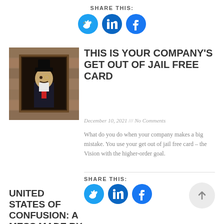SHARE THIS:
[Figure (illustration): Three circular social share buttons: Twitter (light blue), LinkedIn (dark blue), Facebook (blue)]
[Figure (photo): Photo of a Monopoly-like man character in a frame on a stone wall]
THIS IS YOUR COMPANY'S GET OUT OF JAIL FREE CARD
December 10, 2021 /// No Comments
What do you do when your company makes a big mistake. You use your get out of jail free card – the Vision with the higher-order goal.
SHARE THIS:
[Figure (illustration): Three circular social share buttons: Twitter (light blue), LinkedIn (dark blue), Facebook (blue)]
UNITED STATES OF CONFUSION: A MESS MADE BY SOCIAL